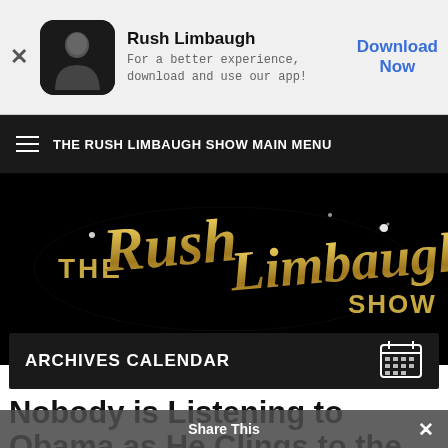[Figure (screenshot): App install banner for Rush Limbaugh show with app icon (man in black), app name, tagline, and Download Now button]
THE RUSH LIMBAUGH SHOW MAIN MENU
[Figure (logo): The Rush Limbaugh Show logo in gold cursive script on black background]
ARCHIVES CALENDAR
Nobody is Listening to Obama as He Clings to the
Share This